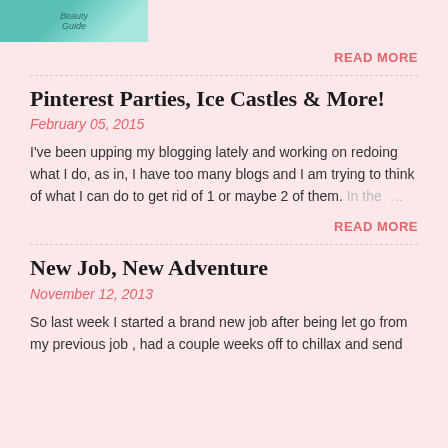[Figure (photo): Small thumbnail image with teal/green background and text]
READ MORE
Pinterest Parties, Ice Castles & More!
February 05, 2015
I've been upping my blogging lately and working on redoing what I do, as in, I have too many blogs and I am trying to think of what I can do to get rid of 1 or maybe 2 of them. In the ...
READ MORE
New Job, New Adventure
November 12, 2013
So last week I started a brand new job after being let go from my previous job , had a couple weeks off to chillax and send